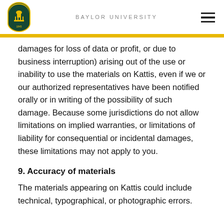BAYLOR UNIVERSITY
damages for loss of data or profit, or due to business interruption) arising out of the use or inability to use the materials on Kattis, even if we or our authorized representatives have been notified orally or in writing of the possibility of such damage. Because some jurisdictions do not allow limitations on implied warranties, or limitations of liability for consequential or incidental damages, these limitations may not apply to you.
9. Accuracy of materials
The materials appearing on Kattis could include technical, typographical, or photographic errors.